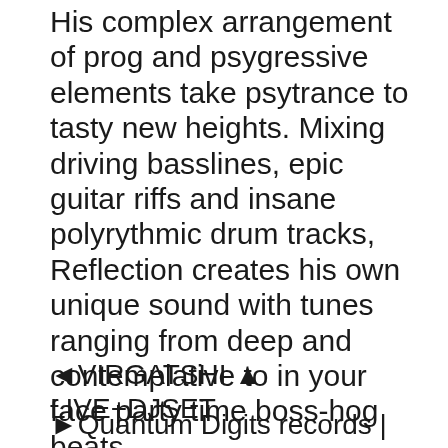His complex arrangement of prog and psygressive elements take psytrance to tasty new heights. Mixing driving basslines, epic guitar riffs and insane polyrythmic drum tracks, Reflection creates his own unique sound with tunes ranging from deep and contemplative to in your face party time boss-hog beats
◄VIRGATSHI ▲ LIVE+DJSET
► Quantum Digits records |